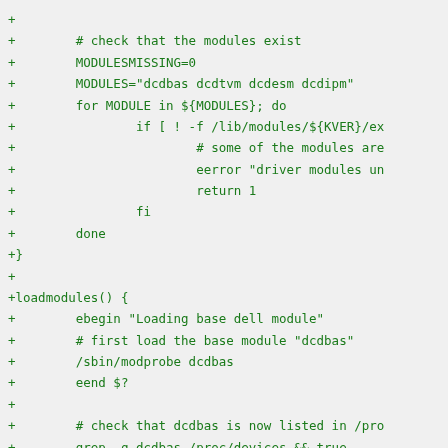+
+        # check that the modules exist
+        MODULESMISSING=0
+        MODULES="dcdbas dcdtvm dcdesm dcdipm"
+        for MODULE in ${MODULES}; do
+                if [ ! -f /lib/modules/${KVER}/ex
+                        # some of the modules are
+                        eerror "driver modules un
+                        return 1
+                fi
+        done
+}
+
+loadmodules() {
+        ebegin "Loading base dell module"
+        # first load the base module "dcdbas"
+        /sbin/modprobe dcdbas
+        eend $?
+
+        # check that dcdbas is now listed in /pro
+        grep -q dcdbas /proc/devices && true
+        if [$? -eq 1]; then